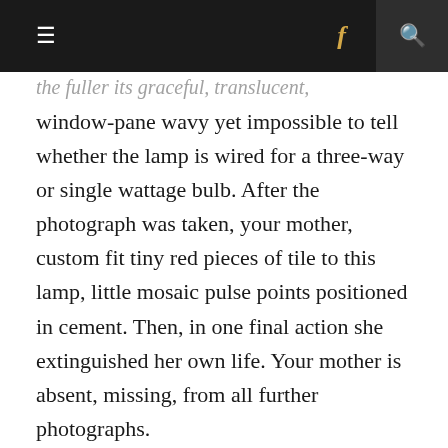≡   f   🔍
the fuller its graceful, translucent, window-pane wavy yet impossible to tell whether the lamp is wired for a three-way or single wattage bulb. After the photograph was taken, your mother, custom fit tiny red pieces of tile to this lamp, little mosaic pulse points positioned in cement. Then, in one final action she extinguished her own life. Your mother is absent, missing, from all further photographs.
Today, the lamp sits in its final resting place, a monument on a waist high table in your stepmother's house, surrounded by